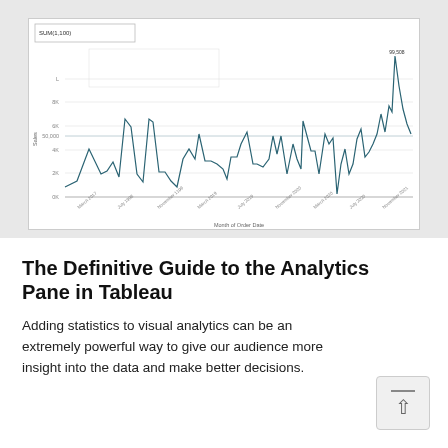[Figure (line-chart): A line chart showing monthly order sales data over several years (approx 2017-2021), with a notable spike at the far right reaching approximately 90,000+. The y-axis ranges from 0K to roughly 100K with gridlines. X-axis shows months from March 2017 to November 2021.]
The Definitive Guide to the Analytics Pane in Tableau
Adding statistics to visual analytics can be an extremely powerful way to give our audience more insight into the data and make better decisions.